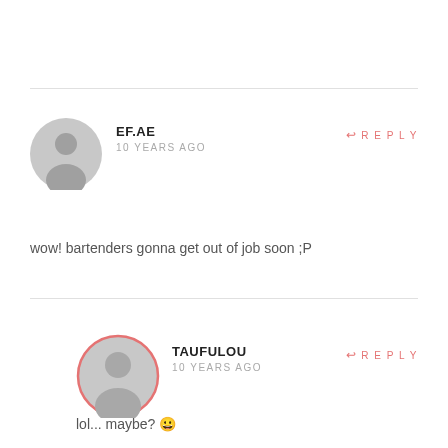EF.AE
10 YEARS AGO
REPLY
wow! bartenders gonna get out of job soon ;P
TAUFULOU
10 YEARS AGO
REPLY
lol... maybe? 😀